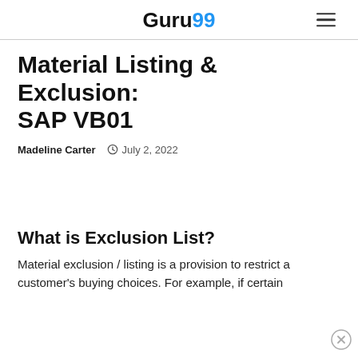Guru99
Material Listing & Exclusion: SAP VB01
Madeline Carter  July 2, 2022
What is Exclusion List?
Material exclusion / listing is a provision to restrict a customer's buying choices. For example, if certain